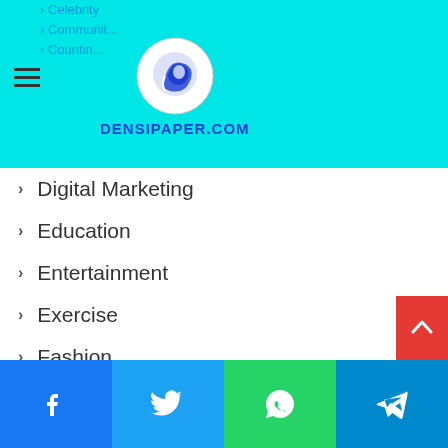[Figure (logo): DENSIPAPER.COM logo with blue circular icon and text]
Digital Marketing
Education
Entertainment
Exercise
Fashion
Featured
Fitness
Food
Forex
Games
Health
[Figure (infographic): Social share bar with Facebook, Twitter, WhatsApp, Telegram icons]